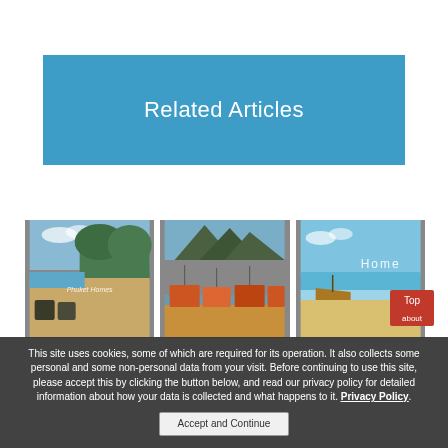Related Articles
[Figure (photo): Beach scene with sandy shore and trees - Phuket Homes]
[Figure (photo): Long-tail boats moored at a pier with limestone cliffs in background]
[Figure (photo): Tropical beach with clear blue water and boat - labeled Home]
This site uses cookies, some of which are required for its operation. It also collects some personal and some non-personal data from your visit. Before continuing to use this site, please accept this by clicking the button below, and read our privacy policy for detailed information about how your data is collected and what happens to it. Privacy Policy.
Accept and Continue